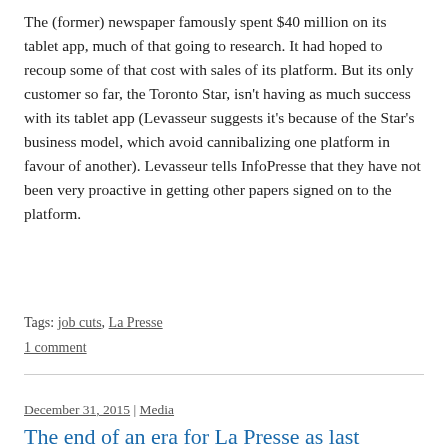The (former) newspaper famously spent $40 million on its tablet app, much of that going to research. It had hoped to recoup some of that cost with sales of its platform. But its only customer so far, the Toronto Star, isn't having as much success with its tablet app (Levasseur suggests it's because of the Star's business model, which avoid cannibalizing one platform in favour of another). Levasseur tells InfoPresse that they have not been very proactive in getting other papers signed on to the platform.
Tags: job cuts, La Presse
1 comment
December 31, 2015 | Media
The end of an era for La Presse as last weekday print edition is published